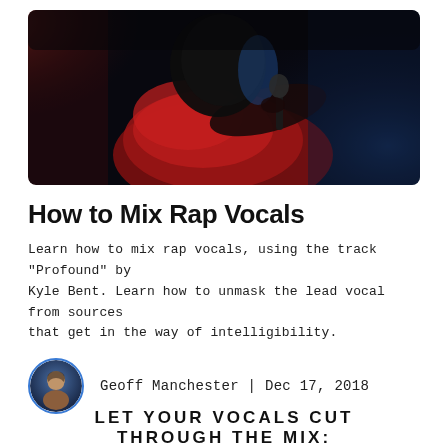[Figure (photo): Dark photo of a person in a red shirt leaning into a microphone, lit with blue and red lighting, seen from above.]
How to Mix Rap Vocals
Learn how to mix rap vocals, using the track "Profound" by Kyle Bent. Learn how to unmask the lead vocal from sources that get in the way of intelligibility.
Geoff Manchester | Dec 17, 2018
LET YOUR VOCALS CUT THROUGH THE MIX: